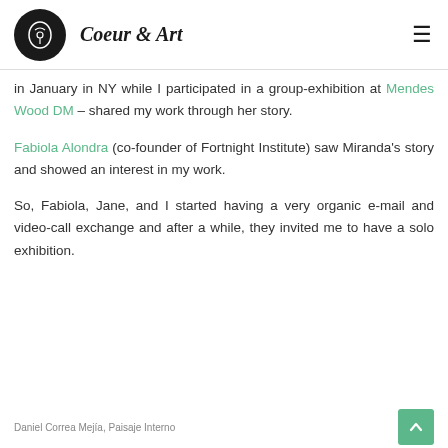Coeur & Art
in January in NY while I participated in a group-exhibition at Mendes Wood DM – shared my work through her story.
Fabiola Alondra (co-founder of Fortnight Institute) saw Miranda's story and showed an interest in my work.
So, Fabiola, Jane, and I started having a very organic e-mail and video-call exchange and after a while, they invited me to have a solo exhibition.
Daniel Correa Mejía, Paisaje Interno